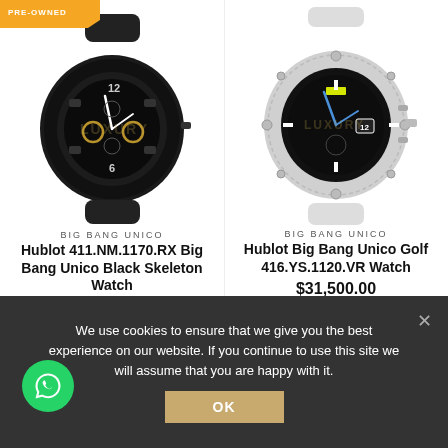[Figure (photo): Pre-owned banner tag in orange at top left]
[Figure (photo): Hublot 411.NM.1170.RX Big Bang Unico Black Skeleton Watch - black skeleton dial luxury watch]
BIG BANG UNICO
Hublot 411.NM.1170.RX Big Bang Unico Black Skeleton Watch
$12,500.00
[Figure (photo): Hublot Big Bang Unico Golf 416.YS.1120.VR Watch - white/silver carbon fiber case luxury watch]
BIG BANG UNICO
Hublot Big Bang Unico Golf 416.YS.1120.VR Watch
$31,500.00
We use cookies to ensure that we give you the best experience on our website. If you continue to use this site we will assume that you are happy with it.